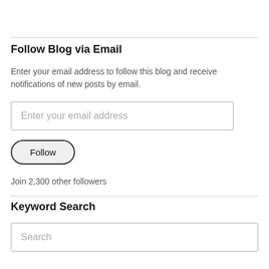Follow Blog via Email
Enter your email address to follow this blog and receive notifications of new posts by email.
[Figure (other): Email address input field with placeholder text 'Enter your email address']
[Figure (other): Follow button with rounded border]
Join 2,300 other followers
Keyword Search
[Figure (other): Search input field with placeholder text 'Search']